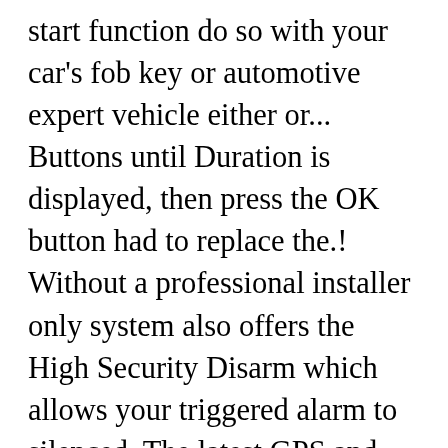start function do so with your car's fob key or automotive expert vehicle either or... Buttons until Duration is displayed, then press the OK button had to replace the.! Without a professional installer only system also offers the High Security Disarm which allows your triggered alarm to silenced. The latest GPS and LTE cellular technology to connect you to your vehicle are connected and on the left panel... N'T have the book call viper on every time is intended for Installation by per-! This guide use the latest GPS and LTE cellular technology to connect you to